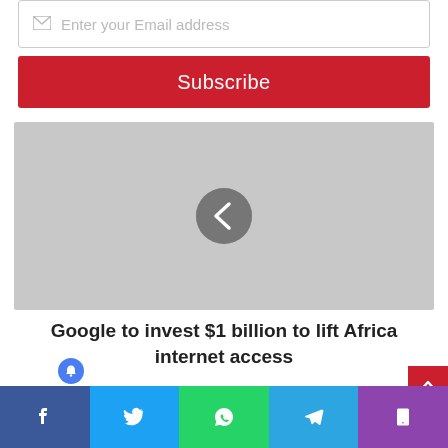Enter your Email address
Subscribe
[Figure (screenshot): Gray placeholder image area with a circular back navigation arrow button in the center]
Google to invest $1 billion to lift Africa internet access
[Figure (screenshot): Social share bar at bottom with Facebook, Twitter, WhatsApp, Telegram, and Phone icons]